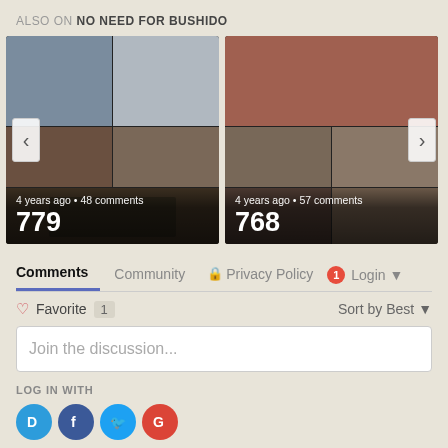ALSO ON NO NEED FOR BUSHIDO
[Figure (screenshot): Comic carousel card 1: manga-style panels, 4 years ago • 48 comments, number 779]
[Figure (screenshot): Comic carousel card 2: manga-style panels, 4 years ago • 57 comments, number 768]
Comments   Community   Privacy Policy   1   Login
Favorite  1   Sort by Best
Join the discussion...
LOG IN WITH
[Figure (illustration): Social login icons: Disqus (blue circle), Facebook (dark blue circle), Twitter (cyan circle), Google (red circle)]